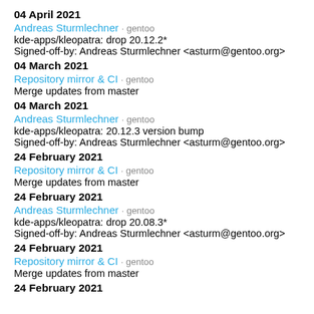04 April 2021
Andreas Sturmlechner · gentoo
kde-apps/kleopatra: drop 20.12.2*
Signed-off-by: Andreas Sturmlechner <asturm@gentoo.org>
04 March 2021
Repository mirror & CI · gentoo
Merge updates from master
04 March 2021
Andreas Sturmlechner · gentoo
kde-apps/kleopatra: 20.12.3 version bump
Signed-off-by: Andreas Sturmlechner <asturm@gentoo.org>
24 February 2021
Repository mirror & CI · gentoo
Merge updates from master
24 February 2021
Andreas Sturmlechner · gentoo
kde-apps/kleopatra: drop 20.08.3*
Signed-off-by: Andreas Sturmlechner <asturm@gentoo.org>
24 February 2021
Repository mirror & CI · gentoo
Merge updates from master
24 February 2021